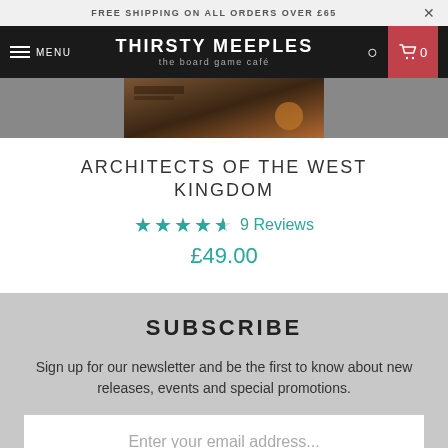FREE SHIPPING ON ALL ORDERS OVER £65
THIRSTY MEEPLES the board game café MENU 0
[Figure (photo): Partial product image of Architects of the West Kingdom board game box]
ARCHITECTS OF THE WEST KINGDOM
★★★★★ 9 Reviews
£49.00
SUBSCRIBE
Sign up for our newsletter and be the first to know about new releases, events and special promotions.
Enter your email address...